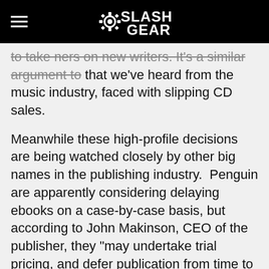SlashGear
to take ners on new writers. It's a similar argument to that we've heard from the music industry, faced with slipping CD sales.
Meanwhile these high-profile decisions are being watched closely by other big names in the publishing industry. Penguin are apparently considering delaying ebooks on a case-by-case basis, but according to John Makinson, CEO of the publisher, they "may undertake trial pricing, and defer publication from time to time, but we won't systematically delay the publication of e-books."